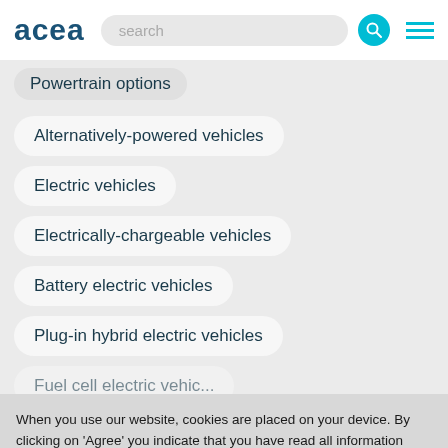acea
Powertrain options
Alternatively-powered vehicles
Electric vehicles
Electrically-chargeable vehicles
Battery electric vehicles
Plug-in hybrid electric vehicles
When you use our website, cookies are placed on your device. By clicking on 'Agree' you indicate that you have read all information about our use of cookies and that you explicitly agree to the use as set out in our cookie policy.
AGREE